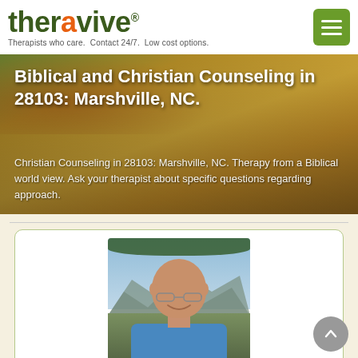theravive® — Therapists who care. Contact 24/7. Low cost options.
Biblical and Christian Counseling in 28103: Marshville, NC.
Christian Counseling in 28103: Marshville, NC. Therapy from a Biblical world view. Ask your therapist about specific questions regarding approach.
[Figure (photo): Portrait photo of a bald middle-aged male therapist wearing glasses and a blue shirt, photographed outdoors with mountains and sky in the background, trees visible at top of frame.]